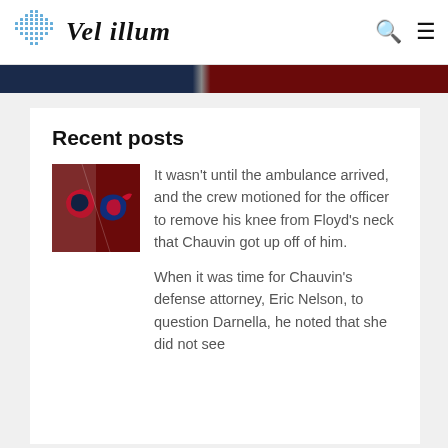Vel illum
Recent posts
[Figure (logo): NFL team logos thumbnail: New England Patriots and Buffalo Bills logos side by side on dark red background]
It wasn't until the ambulance arrived, and the crew motioned for the officer to remove his knee from Floyd's neck that Chauvin got up off of him.
When it was time for Chauvin's defense attorney, Eric Nelson, to question Darnella, he noted that she did not see